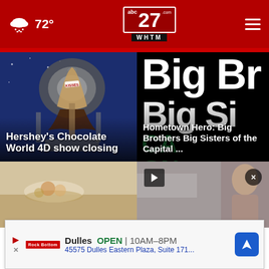abc27.com WHTM — 72° — Navigation
[Figure (photo): Hershey's Chocolate factory/machine scene with KISSES label visible]
Hershey's Chocolate World 4D show closing
[Figure (photo): Big Brothers Big Sisters of the Capital Region promotional graphic with large white text on black background]
Hometown Hero: Big Brothers Big Sisters of the Capital ...
[Figure (photo): Bottom left news thumbnail]
[Figure (photo): Bottom right news thumbnail with play button]
Dulles OPEN | 10AM–8PM 45575 Dulles Eastern Plaza, Suite 171...